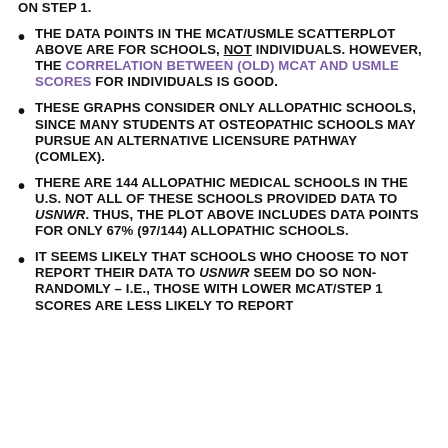ON STEP 1.
THE DATA POINTS IN THE MCAT/USMLE SCATTERPLOT ABOVE ARE FOR SCHOOLS, NOT INDIVIDUALS. HOWEVER, THE CORRELATION BETWEEN (OLD) MCAT AND USMLE SCORES FOR INDIVIDUALS IS GOOD.
THESE GRAPHS CONSIDER ONLY ALLOPATHIC SCHOOLS, SINCE MANY STUDENTS AT OSTEOPATHIC SCHOOLS MAY PURSUE AN ALTERNATIVE LICENSURE PATHWAY (COMLEX).
THERE ARE 144 ALLOPATHIC MEDICAL SCHOOLS IN THE U.S. NOT ALL OF THESE SCHOOLS PROVIDED DATA TO USNWR. THUS, THE PLOT ABOVE INCLUDES DATA POINTS FOR ONLY 67% (97/144) ALLOPATHIC SCHOOLS.
IT SEEMS LIKELY THAT SCHOOLS WHO CHOOSE TO NOT REPORT THEIR DATA TO USNWR SEEM DO SO NON-RANDOMLY – I.E., THOSE WITH LOWER MCAT/STEP 1 SCORES ARE LESS LIKELY TO REPORT